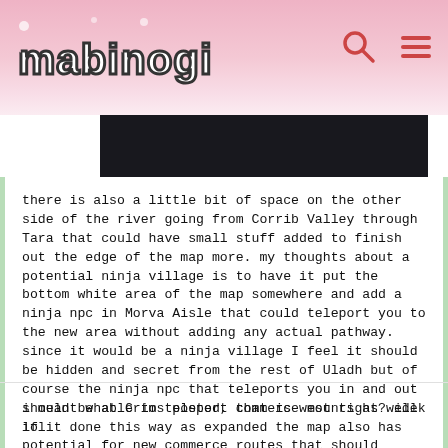mabinogi
[Figure (screenshot): Dark banner/image bar partial view at top of content]
there is also a little bit of space on the other side of the river going from Corrib Valley through Tara that could have small stuff added to finish out the edge of the map more. my thoughts about a potential ninja village is to have it put the bottom white area of the map somewhere and add a ninja npc in Morva Aisle that could teleport you to the new area without adding any actual pathway. since it would be a ninja village I feel it should be hidden and secret from the rest of Uladh but of course the ninja npc that teleports you in and out should be able to teleport commerce mounts as well if it done this way as expanded the map also has potential for new commerce routes that should definitely be added when possible.
i meant what Crims posted, that is west right? idek lol